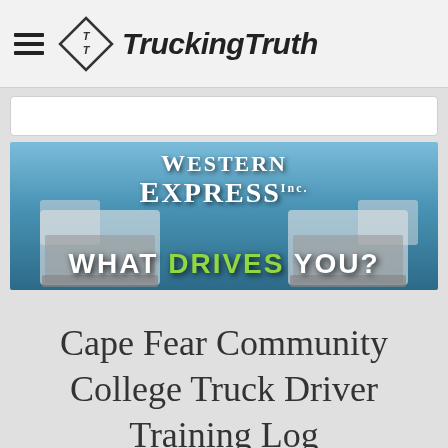TruckingTruth
[Figure (illustration): Western Express advertisement banner showing two white semi-trucks facing forward with the Western Express Inc. logo and tagline 'WHAT DRIVES YOU?' in white and green text on a blue sky background]
Cape Fear Community College Truck Driver Training Log